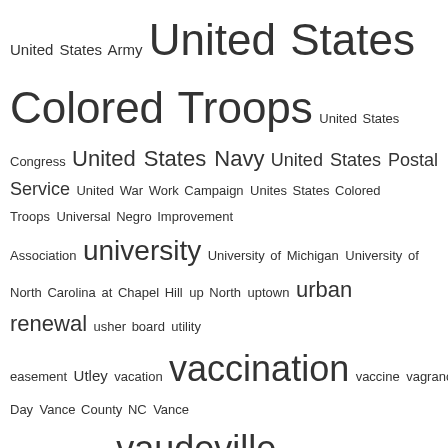[Figure (other): Tag cloud containing terms related to African American history, with font sizes indicating frequency/importance. Largest terms include: United States Colored Troops, vaccination, vaudeville, veteran, Vick, Vick cemetery, Viola Street, Violence, violence against women, volunteer fireman, volunteerism, voting rights, Wainwright Avenue. Smaller terms include: United States Army, United States Congress, United States Navy, United States Postal Service, United War Work Campaign, Unites States Colored Troops, Universal Negro Improvement Association, university, University of Michigan, University of North Carolina at Chapel Hill, up North, uptown, urban renewal, usher board, utility easement, Utley, vacation, vaccine, vagrancy, valedictorian, Valentine's Day, Vance County NC, Vance Street, vandalism, Vaughn, vegetables, vehicular homicide, Venters, vernacular architecture, vernacular art, Veterans Administration Hospital, Veterans Day, veterinarian, vice, Vick Elementary School, Vickers, Vick Street, Victory Garden, vigilantism, Vines, violence against children, Virginia, virtual tour, visitation, Viverette, vocational training, vote, voter registration, voter suppression, W.E.B. Du Bois, Wade, wages, wage violation, wagon, wagon factory, waiter, Wake County.]